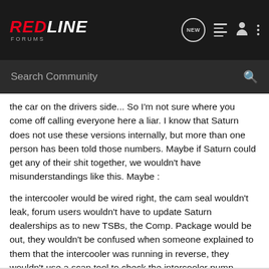RedLine Forums
the car on the drivers side... So I'm not sure where you come off calling everyone here a liar. I know that Saturn does not use these versions internally, but more than one person has been told those numbers. Maybe if Saturn could get any of their shit together, we wouldn't have misunderstandings like this. Maybe :
the intercooler would be wired right, the cam seal wouldn't leak, forum users wouldn't have to update Saturn dealerships as to new TSBs, the Comp. Package would be out, they wouldn't be confused when someone explained to them that the intercooler was running in reverse, they wouldn't use a scan tool to check the intercooler pump direction, the trunk lid wouldn't scratch, they wouldn't need 4 software updates.... etc...